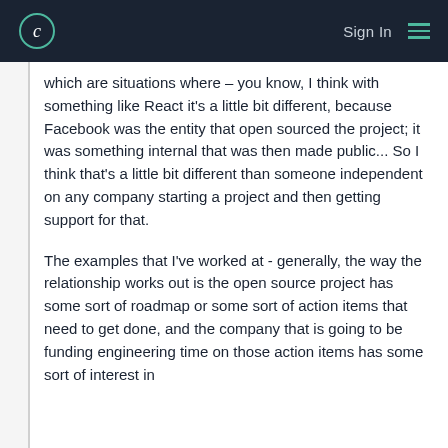Sign In
which are situations where – you know, I think with something like React it's a little bit different, because Facebook was the entity that open sourced the project; it was something internal that was then made public... So I think that's a little bit different than someone independent on any company starting a project and then getting support for that.
The examples that I've worked at - generally, the way the relationship works out is the open source project has some sort of roadmap or some sort of action items that need to get done, and the company that is going to be funding engineering time on those action items has some sort of interest in